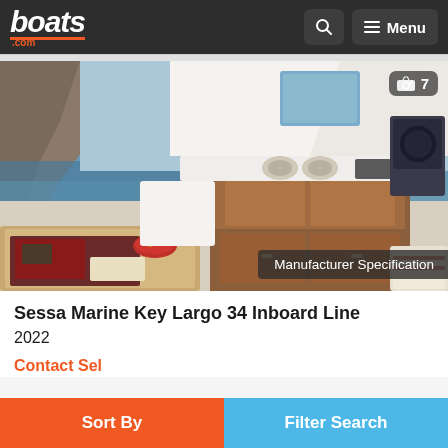boats.com — Menu
[Figure (photo): Interior deck/cockpit of a Sessa Marine Key Largo 34 Inboard boat showing outdoor kitchen with wooden cabinetry, stovetop, sink, dining table with red bowl of fruit, rocky coast and blue water in background. Badge overlay reads: Manufacturer Specification. Camera icon with '7' in top-right corner.]
Sessa Marine Key Largo 34 Inboard Line
2022
Sort By
Filter Search